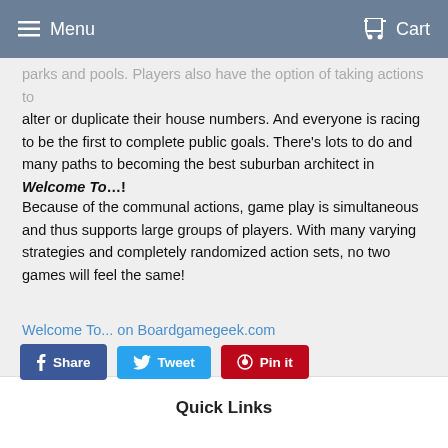Menu   Cart
parks and pools. Players also have the option of taking actions to alter or duplicate their house numbers. And everyone is racing to be the first to complete public goals. There's lots to do and many paths to becoming the best suburban architect in Welcome To...!
Because of the communal actions, game play is simultaneous and thus supports large groups of players. With many varying strategies and completely randomized action sets, no two games will feel the same!
Welcome To... on Boardgamegeek.com
[Figure (other): Social share buttons: Facebook Share, Twitter Tweet, Pinterest Pin it]
Quick Links